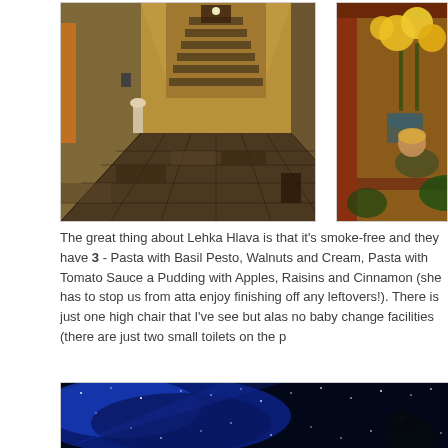[Figure (photo): Interior hallway of Lehka Hlava restaurant with stone tile floor, warm yellow walls with wallpaper, wooden door at end, and stairs going up]
[Figure (photo): Child sitting by a warm window with yellow flowers in a vase, looking down at something on the windowsill]
The great thing about Lehka Hlava is that it's smoke-free and they have 3 - Pasta with Basil Pesto, Walnuts and Cream, Pasta with Tomato Sauce a Pudding with Apples, Raisins and Cinnamon (she has to stop us from atta enjoy finishing off any leftovers!). There is just one high chair that I've see but alas no baby change facilities (there are just two small toilets on the p
[Figure (photo): Night sky with stars and blue nebula or cosmic background, with a dark silhouette figure visible]